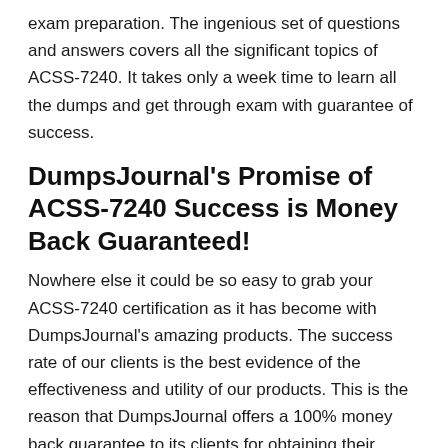exam preparation. The ingenious set of questions and answers covers all the significant topics of ACSS-7240. It takes only a week time to learn all the dumps and get through exam with guarantee of success.
DumpsJournal's Promise of ACSS-7240 Success is Money Back Guaranteed!
Nowhere else it could be so easy to grab your ACSS-7240 certification as it has become with DumpsJournal's amazing products. The success rate of our clients is the best evidence of the effectiveness and utility of our products. This is the reason that DumpsJournal offers a 100% money back guarantee to its clients for obtaining their dream certification in first exam attempt. If our products don't make you succeed, you are entitled to take back your money! You can also take another exam PDF with that money.